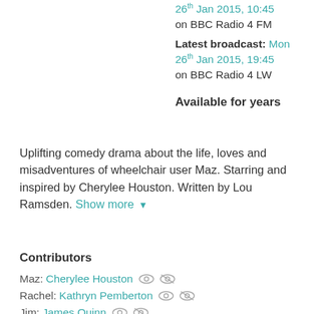26th Jan 2015, 10:45 on BBC Radio 4 FM
Latest broadcast: Mon 26th Jan 2015, 19:45 on BBC Radio 4 LW
Available for years
Uplifting comedy drama about the life, loves and misadventures of wheelchair user Maz. Starring and inspired by Cherylee Houston. Written by Lou Ramsden. Show more ▼
Contributors
Maz: Cherylee Houston
Rachel: Kathryn Pemberton
Jim: James Quinn
Lisa: Rosina Carbone
Didier: Quentin Surtel